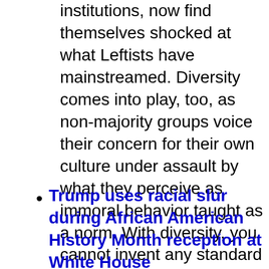institutions, now find themselves shocked at what Leftists have mainstreamed. Diversity comes into play, too, as non-majority groups voice their concern for their own culture under assault by what they perceive as immoral behavior taught as a norm. With diversity, you cannot invent any standard that fits all groups, and so you end up simply liberalizing standards across the board to the disadvantage of all.
Trump uses racial slur during African American History Month reception at White House